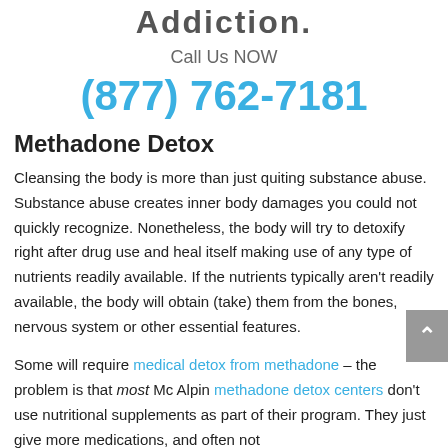Addiction.
Call Us NOW
(877) 762-7181
Methadone Detox
Cleansing the body is more than just quiting substance abuse. Substance abuse creates inner body damages you could not quickly recognize. Nonetheless, the body will try to detoxify right after drug use and heal itself making use of any type of nutrients readily available. If the nutrients typically aren't readily available, the body will obtain (take) them from the bones, nervous system or other essential features.
Some will require medical detox from methadone – the problem is that most Mc Alpin methadone detox centers don't use nutritional supplements as part of their program. They just give more medications, and often not